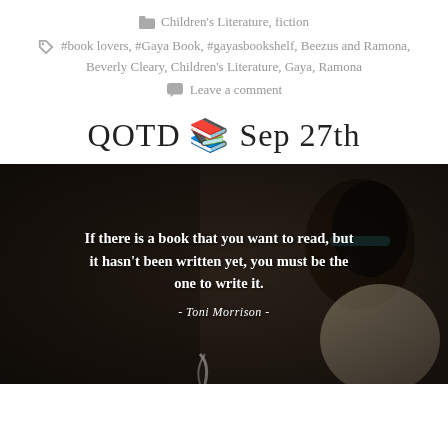Children's Literature, fiction
#book lovers, #Gaya Book, #gayasbookshelf, Beezus and Ramona, Beverly Cleary, Children's Literature, Gaya, Ramona
Leave a comment
QOTD 📚 Sep 27th
[Figure (photo): A young woman with a headband holding a feather quill, overlaid with the quote: 'If there is a book that you want to read, but it hasn't been written yet, you must be the one to write it. - Toni Morrison -']